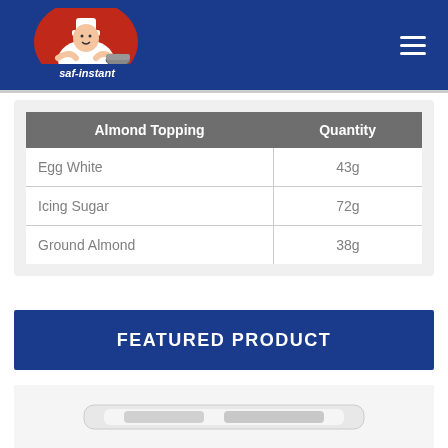[Figure (logo): Saf-instant logo with chef mascot on red background with blue banner text]
| Almond Topping | Quantity |
| --- | --- |
| Egg White | 43g |
| Icing Sugar | 72g |
| Ground Almond | 38g |
FEATURED PRODUCT
[Figure (photo): Partial product image at bottom of page]